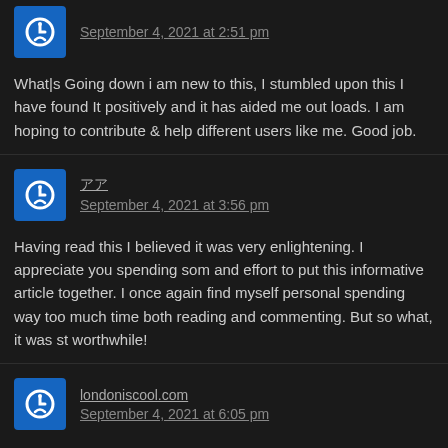September 4, 2021 at 2:51 pm
What|s Going down i am new to this, I stumbled upon this I have found It positively and it has aided me out loads. I am hoping to contribute & help different users like me. Good job.
September 4, 2021 at 3:56 pm
Having read this I believed it was very enlightening. I appreciate you spending som and effort to put this informative article together. I once again find myself personal spending way too much time both reading and commenting. But so what, it was st worthwhile!
londoniscool.com September 4, 2021 at 6:05 pm
Hi , I do believe this is an excellent blog. I stumbled upon it on Yahoo , i will come again. Money and freedom is the best way to change, may you be rich and help o people.
nnrnnnn